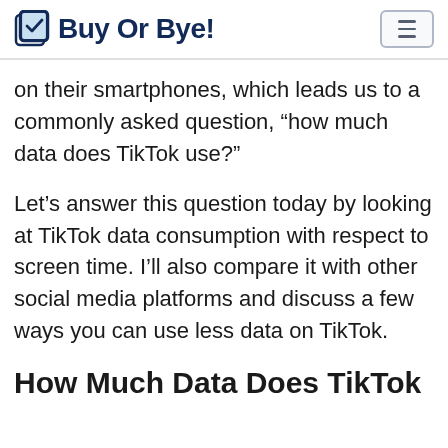Buy Or Bye!
on their smartphones, which leads us to a commonly asked question, “how much data does TikTok use?”
Let’s answer this question today by looking at TikTok data consumption with respect to screen time. I’ll also compare it with other social media platforms and discuss a few ways you can use less data on TikTok.
How Much Data Does TikTok